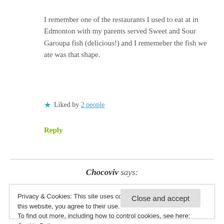I remember one of the restaurants I used to eat at in Edmonton with my parents served Sweet and Sour Garoupa fish (delicious!) and I rememeber the fish we ate was that shape.
★ Liked by 2 people
Reply
Chocoviv says:
Privacy & Cookies: This site uses cookies. By continuing to use this website, you agree to their use.
To find out more, including how to control cookies, see here: Cookie Policy
Close and accept